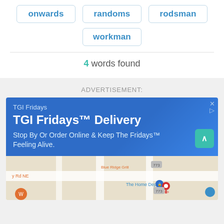onwards
randoms
rodsman
workman
4 words found
ADVERTISEMENT:
[Figure (screenshot): TGI Fridays advertisement banner with blue background showing 'TGI Fridays™ Delivery - Stop By Or Order Online & Keep The Fridays™ Feeling Alive.' followed by a Google Maps snippet showing a location pin near The Home Depot on Blue Ridge Grill area.]